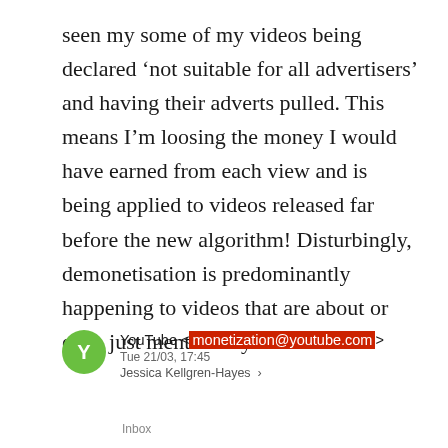seen my some of my videos being declared 'not suitable for all advertisers' and having their adverts pulled. This means I'm loosing the money I would have earned from each view and is being applied to videos released far before the new algorithm! Disturbingly, demonetisation is predominantly happening to videos that are about or even just mention my disabilities!
YouTube <monetization@youtube.com> Tue 21/03, 17:45 Jessica Kellgren-Hayes inbox